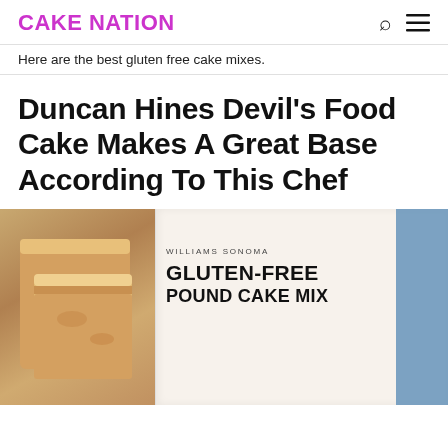CAKE NATION
Here are the best gluten free cake mixes.
Duncan Hines Devil's Food Cake Makes A Great Base According To This Chef
[Figure (photo): Williams Sonoma Gluten-Free Pound Cake Mix box with sliced pound cake visible on the left side of the box]